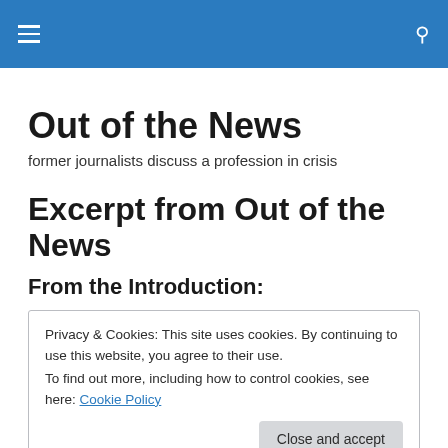Out of the News
former journalists discuss a profession in crisis
Excerpt from Out of the News
From the Introduction:
Privacy & Cookies: This site uses cookies. By continuing to use this website, you agree to their use.
To find out more, including how to control cookies, see here: Cookie Policy

Close and accept